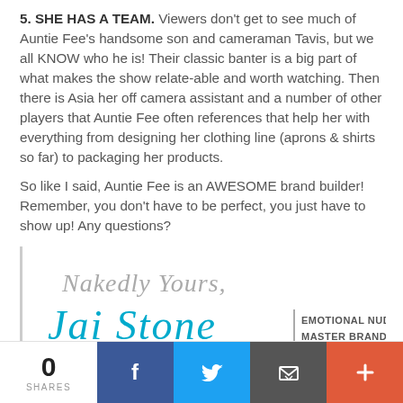5. SHE HAS A TEAM. Viewers don't get to see much of Auntie Fee's handsome son and cameraman Tavis, but we all KNOW who he is! Their classic banter is a big part of what makes the show relate-able and worth watching. Then there is Asia her off camera assistant and a number of other players that Auntie Fee often references that help her with everything from designing her clothing line (aprons & shirts so far) to packaging her products.
So like I said, Auntie Fee is an AWESOME brand builder! Remember, you don't have to be perfect, you just have to show up! Any questions?
[Figure (illustration): Signature of Jai Stone reading 'Nakedly Yours, Jai Stone | EMOTIONAL NUDIST & MASTER BRAND COACH' with teal cursive styling]
PHOTO CREDITS: Jimmy Kimmel Live, TMZ, Oh Bite It
0 SHARES